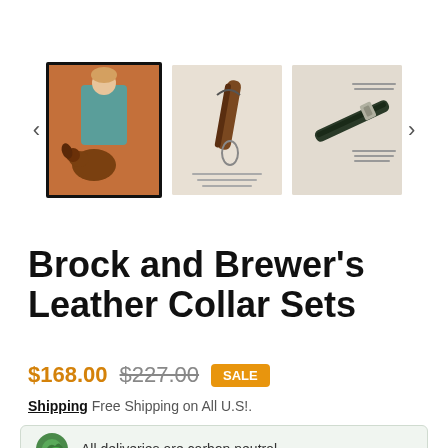[Figure (photo): Product image carousel showing three thumbnails: (1) person in teal clothing with a dog against an orange/terracotta background (selected/highlighted), (2) leather leash detail on beige background with small text, (3) leather collar detail on beige background with small text. Left and right navigation arrows flank the thumbnails.]
Brock and Brewer's Leather Collar Sets
$168.00  $227.00  SALE
Shipping Free Shipping on All U.S!.
All deliveries are carbon neutral